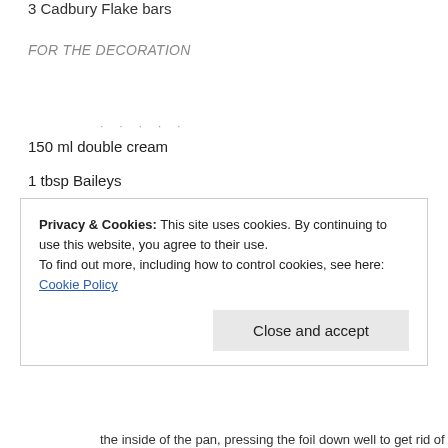3 Cadbury Flake bars
FOR THE DECORATION
150 ml double cream
1 tbsp Baileys
Privacy & Cookies: This site uses cookies. By continuing to use this website, you agree to their use.
To find out more, including how to control cookies, see here: Cookie Policy

Close and accept
the inside of the pan, pressing the foil down well to get rid of